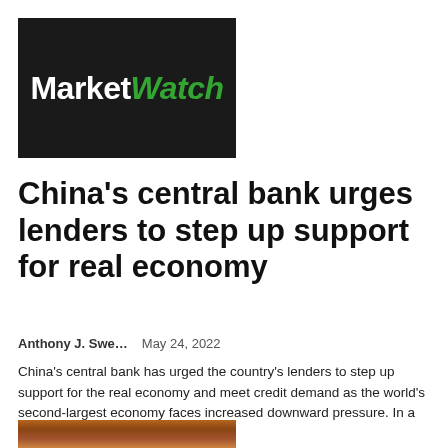[Figure (logo): MarketWatch logo — white text 'Market' and green italic 'Watch' on dark background]
China's central bank urges lenders to step up support for real economy
Anthony J. Swe...    May 24, 2022
China's central bank has urged the country's lenders to step up support for the real economy and meet credit demand as the world's second-largest economy faces increased downward pressure. In a meeting with 24 financial...
[Figure (photo): Partial photo visible at the bottom of the page]